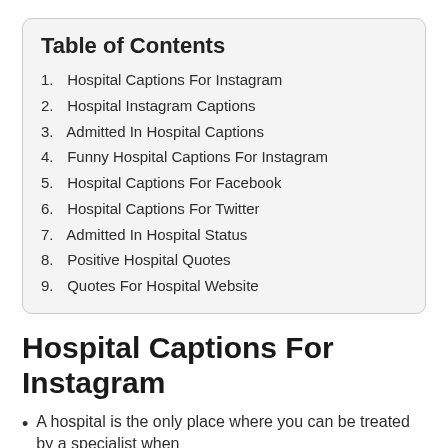Table of Contents
1. Hospital Captions For Instagram
2. Hospital Instagram Captions
3. Admitted In Hospital Captions
4. Funny Hospital Captions For Instagram
5. Hospital Captions For Facebook
6. Hospital Captions For Twitter
7. Admitted In Hospital Status
8. Positive Hospital Quotes
9. Quotes For Hospital Website
Hospital Captions For Instagram
A hospital is the only place where you can be treated by a specialist when